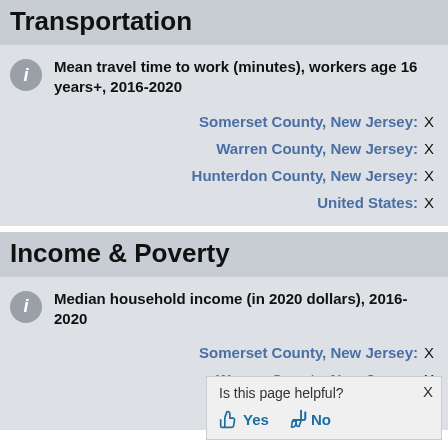Transportation
Mean travel time to work (minutes), workers age 16 years+, 2016-2020
Somerset County, New Jersey: X
Warren County, New Jersey: X
Hunterdon County, New Jersey: X
United States: X
Income & Poverty
Median household income (in 2020 dollars), 2016-2020
Somerset County, New Jersey: X
Warren County, New Jersey: X
Hunterdon County, New Jersey: X
Is this page helpful? Yes No